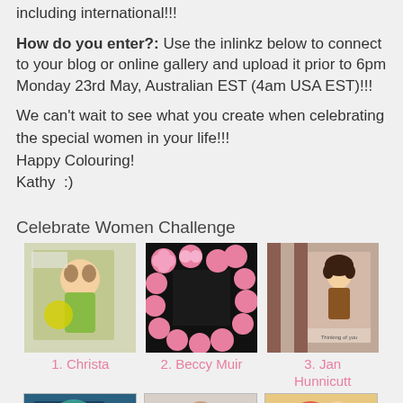including international!!!
How do you enter?: Use the inlinkz below to connect to your blog or online gallery and upload it prior to 6pm Monday 23rd May, Australian EST (4am USA EST)!!!
We can't wait to see what you create when celebrating the special women in your life!!!
Happy Colouring!
Kathy  :)
Celebrate Women Challenge
[Figure (photo): Thumbnail image 1 - card with girl holding flower]
1. Christa
[Figure (photo): Thumbnail image 2 - pink flowers on black background]
2. Beccy Muir
[Figure (photo): Thumbnail image 3 - card with girl, 'Thinking of you']
3. Jan Hunnicutt
[Figure (photo): Thumbnail image 4 - teal flower card]
[Figure (photo): Thumbnail image 5 - fairy/character card]
[Figure (photo): Thumbnail image 6 - colorful card]